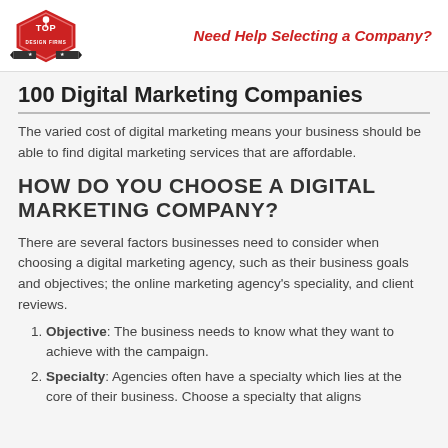Need Help Selecting a Company?
100 Digital Marketing Companies
The varied cost of digital marketing means your business should be able to find digital marketing services that are affordable.
HOW DO YOU CHOOSE A DIGITAL MARKETING COMPANY?
There are several factors businesses need to consider when choosing a digital marketing agency, such as their business goals and objectives; the online marketing agency's speciality, and client reviews.
Objective: The business needs to know what they want to achieve with the campaign.
Specialty: Agencies often have a specialty which lies at the core of their business. Choose a specialty that aligns